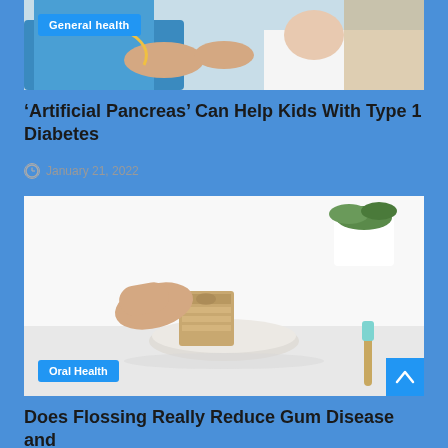[Figure (photo): Doctor examining a child patient, medical setting with blue uniforms]
General health
'Artificial Pancreas' Can Help Kids With Type 1 Diabetes
January 21, 2022
[Figure (photo): Hand picking up dental floss container on a white tray, with a toothbrush nearby and a plant in the background]
Oral Health
Does Flossing Really Reduce Gum Disease and